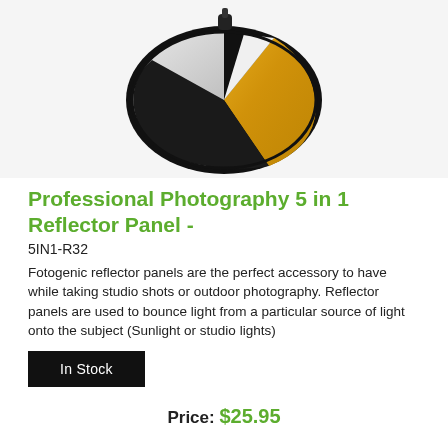[Figure (photo): A 5-in-1 photography reflector panel shown partially open, displaying silver, gold, white, and black surface panels in an elliptical/circular frame with a carrying handle at the top.]
Professional Photography 5 in 1 Reflector Panel -
5IN1-R32
Fotogenic reflector panels are the perfect accessory to have while taking studio shots or outdoor photography. Reflector panels are used to bounce light from a particular source of light onto the subject (Sunlight or studio lights)
In Stock
Price: $25.95